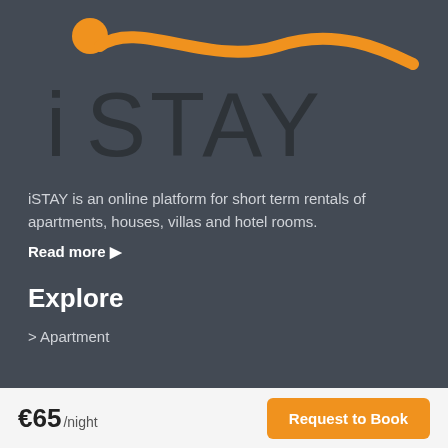[Figure (logo): iSTAY logo with orange sun dot and swooping orange wave above stylized text 'iSTAY' in dark gray on dark background]
iSTAY is an online platform for short term rentals of apartments, houses, villas and hotel rooms.
Read more ▶
Explore
> Apartment
€65/night
Request to Book